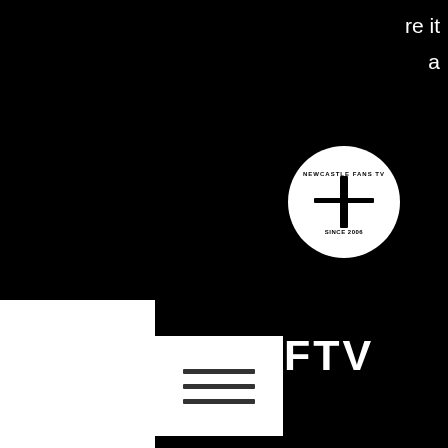re it
a
[Figure (logo): Newcastle NFTV circular logo with cross/sword design in black and white]
NFTV
[Figure (other): Hamburger menu icon (three horizontal lines) on white background]
29/9 Reading 2-2 (Ba 58, 83)
21/10 Sunderland 1-1 (Cabaye 3)
4/11 Liverpool 1-1 (Cabaye 43)
25/11 Southampton 0-2
28/11 Stoke 1-2 (Cisse 47)